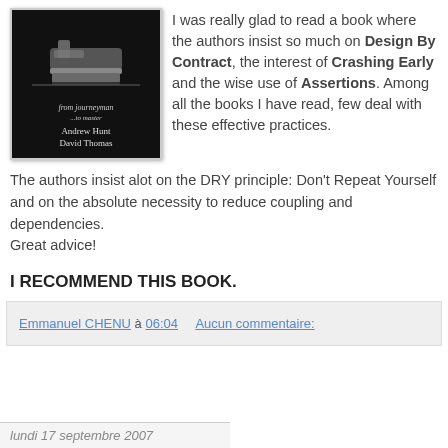[Figure (photo): Book cover of 'The Pragmatic Programmer: from journeyman to master' by Andrew Hunt and David Thomas, dark background with a hand plane tool]
I was really glad to read a book where the authors insist so much on Design By Contract, the interest of Crashing Early and the wise use of Assertions. Among all the books I have read, few deal with these effective practices.
The authors insist alot on the DRY principle: Don't Repeat Yourself and on the absolute necessity to reduce coupling and dependencies.
Great advice!
I RECOMMEND THIS BOOK.
Emmanuel CHENU à 06:04   Aucun commentaire:
lundi 17 septembre 2007